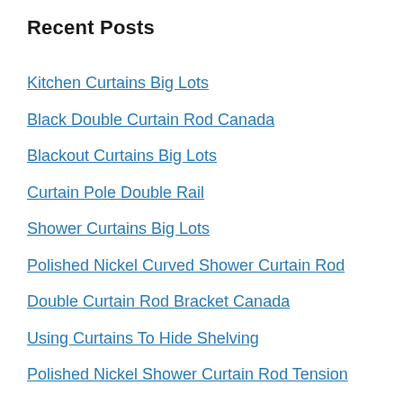Recent Posts
Kitchen Curtains Big Lots
Black Double Curtain Rod Canada
Blackout Curtains Big Lots
Curtain Pole Double Rail
Shower Curtains Big Lots
Polished Nickel Curved Shower Curtain Rod
Double Curtain Rod Bracket Canada
Using Curtains To Hide Shelving
Polished Nickel Shower Curtain Rod Tension
Curtains To Cover Bookshelves
Curtains To Cover Open Shelves
How To Put Curtains On Shelves